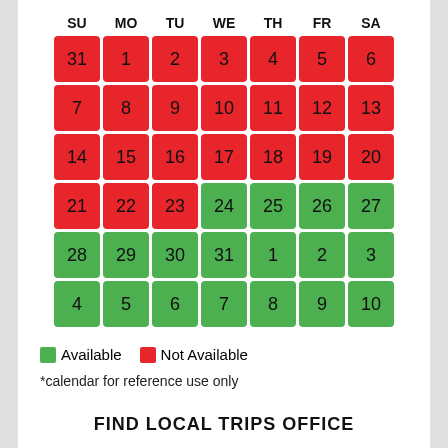[Figure (other): Availability calendar with days of the week (SU MO TU WE TH FR SA). Red cells are Not Available, green cells are Available. Row 1: 31(red-gray),1,2,3,4,5,6 all red. Row 2: 7,8,9,10,11,12,13 all red. Row 3: 14,15,16,17,18,19,20 all red. Row 4: 21,22,23 red; 24,25,26,27 green. Row 5: 28,29,30,31,1,2,3 all green. Row 6: 4,5,6,7,8,9,10 all green.]
Available  Not Available
*calendar for reference use only
CHOOSE DATE AND BOOK
FIND LOCAL TRIPS OFFICE